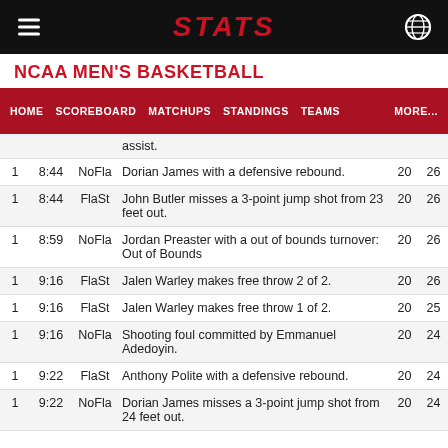STATS
NCAA MEN'S BASKETBALL
HOME  SCOREBOARD  MATCHUPS  STANDINGS  TEAMS  MORE...
| Period | Time | Team | Description | Score1 | Score2 |
| --- | --- | --- | --- | --- | --- |
|  |  |  | assist. |  |  |
| 1 | 8:44 | NoFla | Dorian James with a defensive rebound. | 20 | 26 |
| 1 | 8:44 | FlaSt | John Butler misses a 3-point jump shot from 23 feet out. | 20 | 26 |
| 1 | 8:59 | NoFla | Jordan Preaster with a out of bounds turnover: Out of Bounds | 20 | 26 |
| 1 | 9:16 | FlaSt | Jalen Warley makes free throw 2 of 2. | 20 | 26 |
| 1 | 9:16 | FlaSt | Jalen Warley makes free throw 1 of 2. | 20 | 25 |
| 1 | 9:16 | NoFla | Shooting foul committed by Emmanuel Adedoyin. | 20 | 24 |
| 1 | 9:22 | FlaSt | Anthony Polite with a defensive rebound. | 20 | 24 |
| 1 | 9:22 | NoFla | Dorian James misses a 3-point jump shot from 24 feet out. | 20 | 24 |